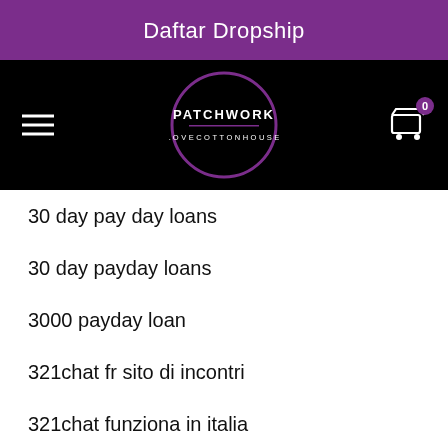Daftar Dropship
[Figure (logo): Patchwork Lovecottonhouse logo — circular purple border with text PATCHWORK LOVECOTTONHOUSE inside on black background, with hamburger menu icon on the left and a shopping cart icon with badge '0' on the right]
30 day pay day loans
30 day payday loans
3000 payday loan
321chat fr sito di incontri
321chat funziona in italia
321chat review
321chat reviews
321chat S'inscrire